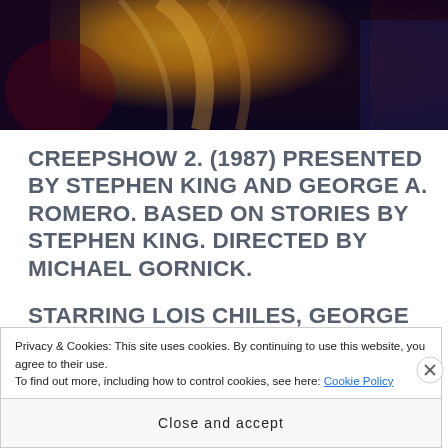[Figure (photo): Top portion of a dark fantasy/horror movie promotional image. Dark background with golden, dramatic lighting over abstract or human figure elements.]
CREEPSHOW 2. (1987) PRESENTED BY STEPHEN KING AND GEORGE A. ROMERO. BASED ON STORIES BY STEPHEN KING. DIRECTED BY MICHAEL GORNICK.
STARRING LOIS CHILES, GEORGE KENNEDY, DOROTHY LAMOUR, STEPHEN KING AND TOM SAVINI AS 'THE CREEP.'
Privacy & Cookies: This site uses cookies. By continuing to use this website, you agree to their use. To find out more, including how to control cookies, see here: Cookie Policy
Close and accept